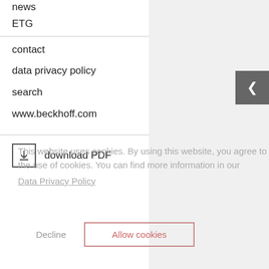news
ETG
contact
data privacy policy
search
www.beckhoff.com
download PDF
This website uses cookies. By using this website, you agree to the use of cookies. You can find more information in our Data Privacy Policy
Decline
Allow cookies